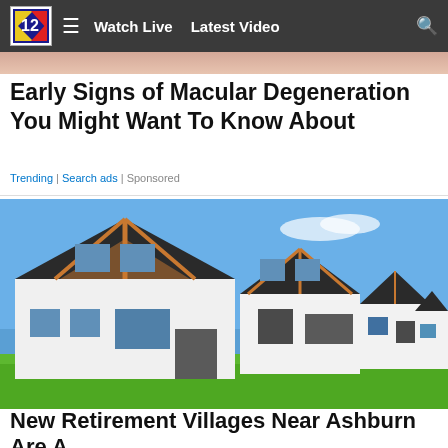Watch Live  Latest Video
[Figure (photo): Partial skin-toned image at top, likely from macular degeneration article thumbnail]
Early Signs of Macular Degeneration You Might Want To Know About
Trending | Search ads | Sponsored
[Figure (photo): Row of modern white houses with dark roofs and wooden gable accents on a green lawn under blue sky]
New Retirement Villages Near Ashburn Are A